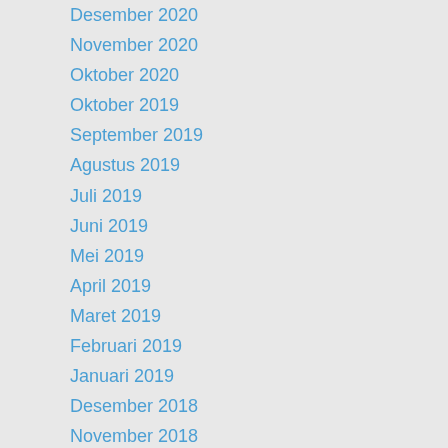Desember 2020
November 2020
Oktober 2020
Oktober 2019
September 2019
Agustus 2019
Juli 2019
Juni 2019
Mei 2019
April 2019
Maret 2019
Februari 2019
Januari 2019
Desember 2018
November 2018
Oktober 2018
September 2018
Agustus 2018
Juli 2018
Juni 2018
Mei 2018